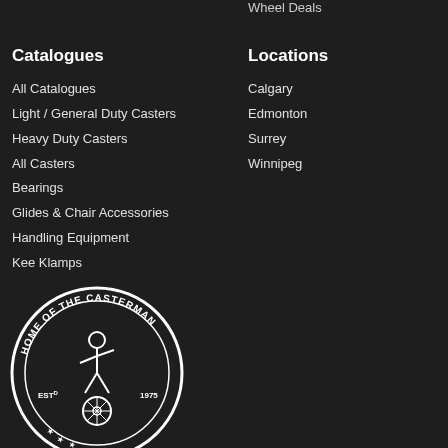Wheel Deals
Catalogues
All Catalogues
Light / General Duty Casters
Heavy Duty Casters
All Casters
Bearings
Glides & Chair Accessories
Handling Equipment
Kee Klamps
Locations
Calgary
Edmonton
Surrey
Winnipeg
[Figure (logo): Home of the Casterman circular logo, EST 1975, showing a figure working on a wheel/caster]